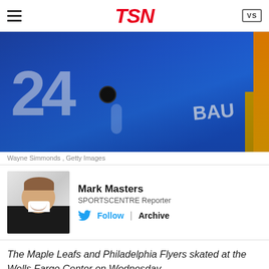TSN
[Figure (photo): Hockey player wearing a blue Toronto Maple Leafs jersey number 24 leaning forward on the ice, with orange and yellow boards visible in the background]
Wayne Simmonds , Getty Images
Mark Masters
SPORTSCENTRE Reporter
Follow | Archive
The Maple Leafs and Philadelphia Flyers skated at the Wells Fargo Center on Wednesday.
---
[Figure (screenshot): Partial view of a blue TSN video or graphic element at the bottom of the page]